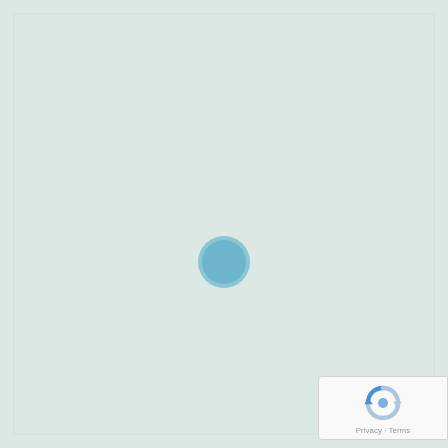[Figure (map): A Google Maps-style map view showing a mostly empty light teal/mint colored area (likely water or terrain) with a single circular blue location marker near the center-right of the map. The map has a thin border around it.]
[Figure (logo): Google reCAPTCHA badge in the bottom-right corner showing the reCAPTCHA logo (circular arrows) and Privacy - Terms text links.]